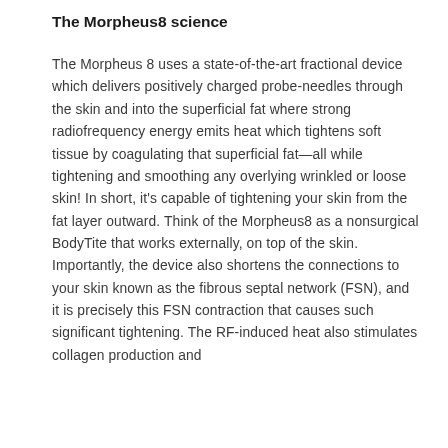The Morpheus8 science
The Morpheus 8 uses a state-of-the-art fractional device which delivers positively charged probe-needles through the skin and into the superficial fat where strong radiofrequency energy emits heat which tightens soft tissue by coagulating that superficial fat—all while tightening and smoothing any overlying wrinkled or loose skin! In short, it's capable of tightening your skin from the fat layer outward. Think of the Morpheus8 as a nonsurgical BodyTite that works externally, on top of the skin. Importantly, the device also shortens the connections to your skin known as the fibrous septal network (FSN), and it is precisely this FSN contraction that causes such significant tightening. The RF-induced heat also stimulates collagen production and...